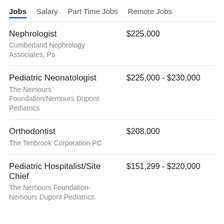Jobs   Salary   Part Time Jobs   Remote Jobs
Nephrologist | Cumberland Nephrology Associates, Pa | $225,000
Pediatric Neonatologist | The Nemours Foundation/Nemours Dupont Pediatrics | $225,000 - $230,000
Orthodontist | The Tenbrook Corporation PC | $208,000
Pediatric Hospitalist/Site Chief | The Nemours Foundation-Nemours Dupont Pediatrics | $151,299 - $220,000